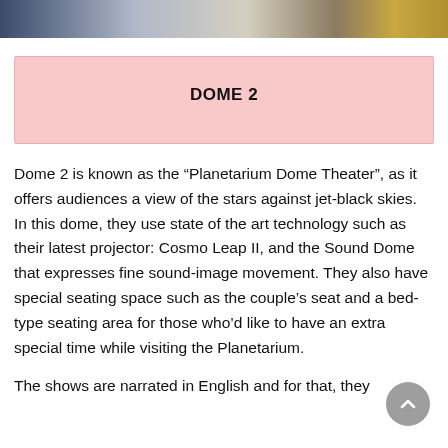[Figure (photo): Top portion of a photo showing food and objects on a table, cropped at the top of the page]
DOME 2
Dome 2 is known as the “Planetarium Dome Theater”, as it offers audiences a view of the stars against jet-black skies. In this dome, they use state of the art technology such as their latest projector: Cosmo Leap II, and the Sound Dome that expresses fine sound-image movement. They also have special seating space such as the couple’s seat and a bed-type seating area for those who’d like to have an extra special time while visiting the Planetarium.
The shows are narrated in English and for that, they